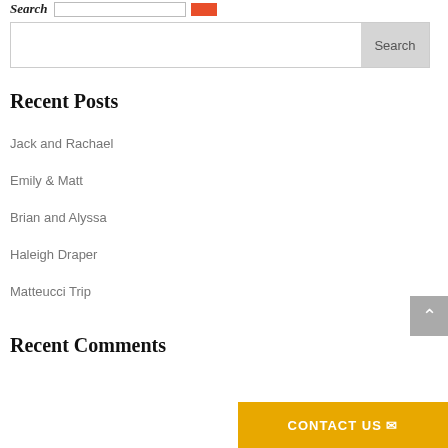Search [input] [button]
[Figure (other): Search input box with Search button on the right]
Recent Posts
Jack and Rachael
Emily & Matt
Brian and Alyssa
Haleigh Draper
Matteucci Trip
Recent Comments
[Figure (other): Back to top arrow button (grey)]
[Figure (other): CONTACT US button with envelope icon (gold/orange background)]